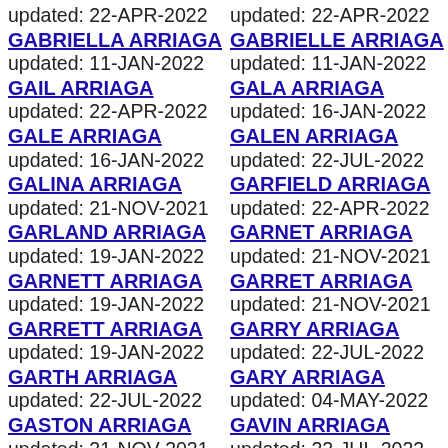updated: 22-APR-2022
GABRIELLA ARRIAGA
updated: 11-JAN-2022
GAIL ARRIAGA
updated: 22-APR-2022
GALE ARRIAGA
updated: 16-JAN-2022
GALINA ARRIAGA
updated: 21-NOV-2021
GARLAND ARRIAGA
updated: 19-JAN-2022
GARNETT ARRIAGA
updated: 19-JAN-2022
GARRETT ARRIAGA
updated: 19-JAN-2022
GARTH ARRIAGA
updated: 22-JUL-2022
GASTON ARRIAGA
updated: 21-NOV-2021
GAY ARRIAGA updated:
updated: 22-APR-2022
GABRIELLE ARRIAGA
updated: 11-JAN-2022
GALA ARRIAGA
updated: 16-JAN-2022
GALEN ARRIAGA
updated: 22-JUL-2022
GARFIELD ARRIAGA
updated: 22-APR-2022
GARNET ARRIAGA
updated: 21-NOV-2021
GARRET ARRIAGA
updated: 21-NOV-2021
GARRY ARRIAGA
updated: 22-JUL-2022
GARY ARRIAGA
updated: 04-MAY-2022
GAVIN ARRIAGA
updated: 22-JUL-2022
GAYE ARRIAGA